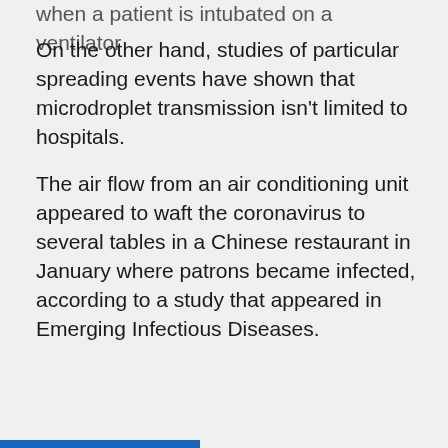when a patient is intubated on a ventilator
On the other hand, studies of particular spreading events have shown that microdroplet transmission isn't limited to hospitals.
The air flow from an air conditioning unit appeared to waft the coronavirus to several tables in a Chinese restaurant in January where patrons became infected, according to a study that appeared in Emerging Infectious Diseases.